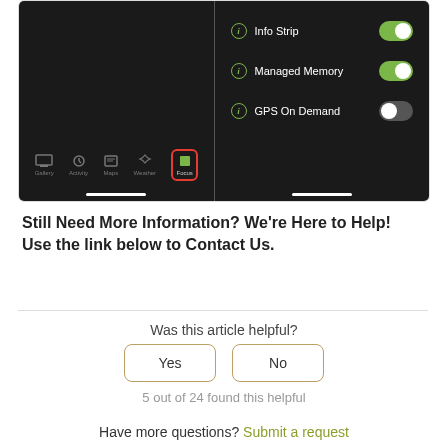[Figure (screenshot): Two smartphone screenshots side by side: left shows a dark app screen with navigation icons at the bottom, one highlighted with a red border; right shows a dark settings screen with toggles for Info Strip (on), Managed Memory (on), and GPS On Demand (off).]
Still Need More Information?  We're Here to Help!  Use the link below to Contact Us.
Was this article helpful?
Yes
No
5 out of 24 found this helpful
Have more questions? Submit a request